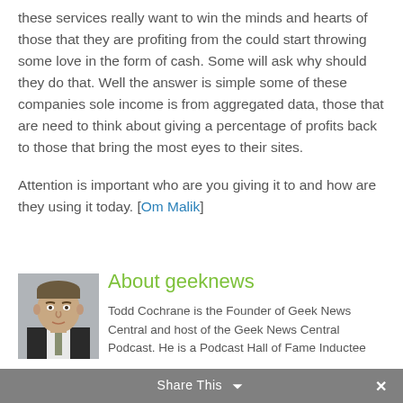these services really want to win the minds and hearts of those that they are profiting from the could start throwing some love in the form of cash. Some will ask why should they do that. Well the answer is simple some of these companies sole income is from aggregated data, those that are need to think about giving a percentage of profits back to those that bring the most eyes to their sites.
Attention is important who are you giving it to and how are they using it today. [Om Malik]
[Figure (photo): Headshot of Todd Cochrane, a man in a suit and tie against a grey background]
About geeknews
Todd Cochrane is the Founder of Geek News Central and host of the Geek News Central Podcast. He is a Podcast Hall of Fame Inductee
Share This ×